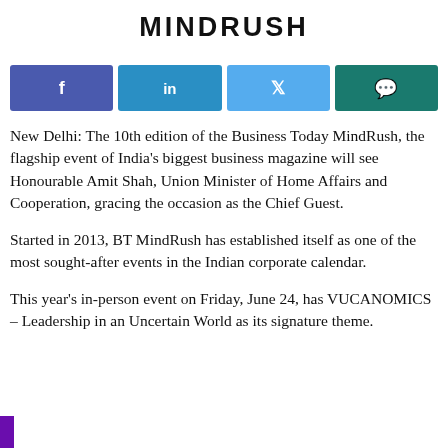MINDRUSH
[Figure (infographic): Social share buttons: Facebook, LinkedIn, Twitter, WhatsApp]
New Delhi: The 10th edition of the Business Today MindRush, the flagship event of India's biggest business magazine will see Honourable Amit Shah, Union Minister of Home Affairs and Cooperation, gracing the occasion as the Chief Guest.
Started in 2013, BT MindRush has established itself as one of the most sought-after events in the Indian corporate calendar.
This year's in-person event on Friday, June 24, has VUCANOMICS – Leadership in an Uncertain World as its signature theme.